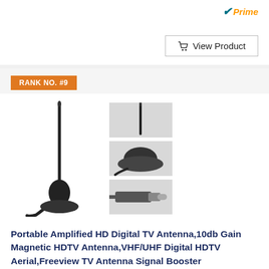[Figure (screenshot): Amazon Prime badge (checkmark with 'Prime' in orange/blue)]
View Product
RANK NO. #9
[Figure (photo): Product photo of a portable TV antenna with magnetic base, shown from multiple angles: full antenna, base closeup, and connector closeup]
Portable Amplified HD Digital TV Antenna,10db Gain Magnetic HDTV Antenna,VHF/UHF Digital HDTV Aerial,Freeview TV Antenna Signal Booster
[Figure (logo): Amazon Prime badge]